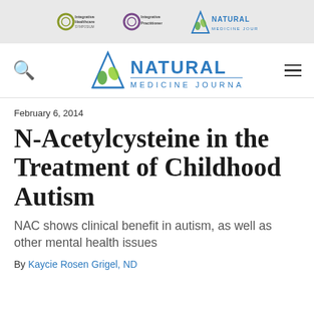Integrative Healthcare Symposium | Integrative Practitioner | Natural Medicine Journal
[Figure (logo): Natural Medicine Journal logo with flask icon, navigation bar with search and hamburger menu icons]
February 6, 2014
N-Acetylcysteine in the Treatment of Childhood Autism
NAC shows clinical benefit in autism, as well as other mental health issues
By Kaycie Rosen Grigel, ND